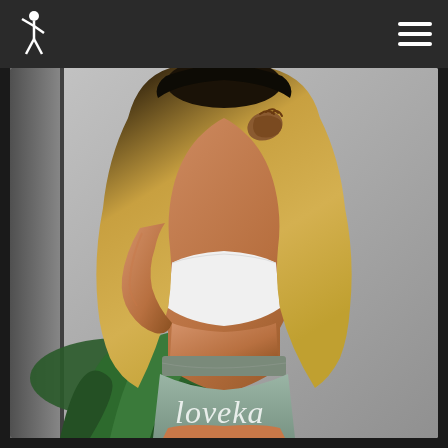Navigation bar with logo and hamburger menu
[Figure (photo): A woman with long blonde hair viewed from behind, wearing a white crop top and light sage green shorts with the cursive text 'loveka' written on the back. She has her hand raised to the back of her neck. A green tropical plant is visible in the background against a grey wall. A mirror is partially visible on the left edge.]